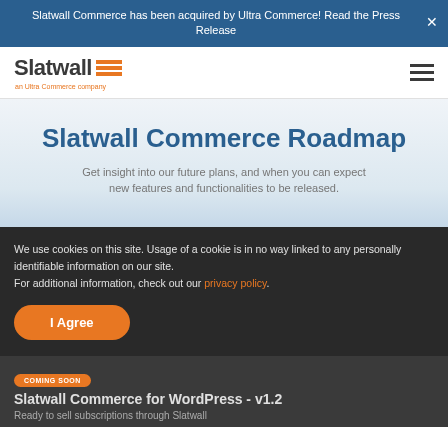Slatwall Commerce has been acquired by Ultra Commerce! Read the Press Release
[Figure (logo): Slatwall logo with orange horizontal lines and tagline 'an Ultra Commerce company']
Slatwall Commerce Roadmap
Get insight into our future plans, and when you can expect new features and functionalities to be released.
We use cookies on this site. Usage of a cookie is in no way linked to any personally identifiable information on our site. For additional information, check out our privacy policy.
Coming Soon
COMING SOON
Slatwall Commerce for WordPress - v1.2
Ready to sell subscriptions through Slatwall